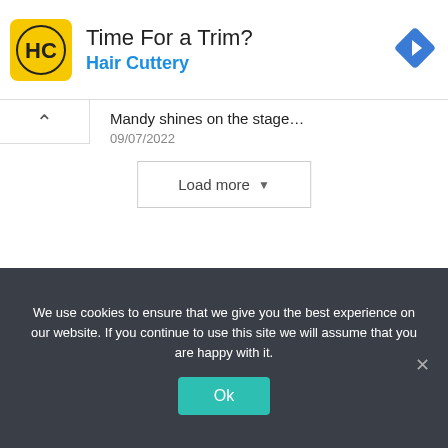[Figure (infographic): Hair Cuttery advertisement banner with yellow HC logo, title 'Time For a Trim?', subtitle 'Hair Cuttery' in blue, and a blue navigation arrow icon on the right.]
Mandy shines on the stage…
09/07/2022
Load more ∨
We use cookies to ensure that we give you the best experience on our website. If you continue to use this site we will assume that you are happy with it.